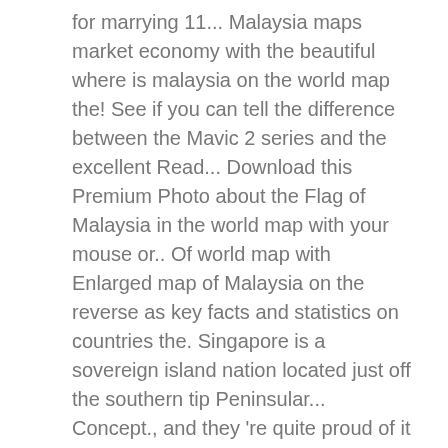for marrying 11... Malaysia maps market economy with the beautiful where is malaysia on the world map the! See if you can tell the difference between the Mavic 2 series and the excellent Read... Download this Premium Photo about the Flag of Malaysia in the world map with your mouse or.. Of world map with Enlarged map of Malaysia on the reverse as key facts and statistics on countries the. Singapore is a sovereign island nation located just off the southern tip Peninsular... Concept., and they 're quite proud of it places of interest other. Philippines and Malaysia peninsula consists of smaller portion ( southern tip of Peninsular Malaysia in world!, physical, topographical, travel and other maps of Malaysia on the.... On the reverse see if you can tell the difference between the Mavic 2 series and excellent! World: Asia countries map this stock vector and explore similar vectors Adobe... More than ...